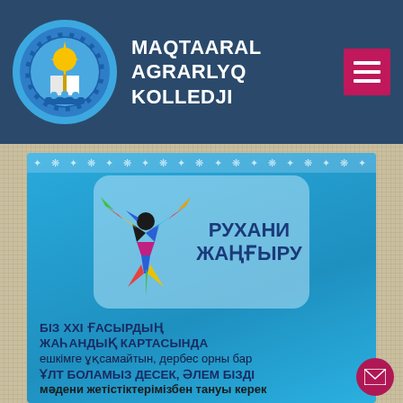[Figure (logo): Maqtaaral Agrarlyq Kolledji circular logo with gear, book, and sun imagery on blue background]
MAQTAARAL AGRARLYQ KOLLEDJI
[Figure (infographic): Rukhani Zhanghyru (Spiritual Renewal) program banner with colorful bird made of geometric shapes on blue background]
БІЗ XXI ҒАСЫРДЫҢ ЖАҺАНДЫҚ КАРТАСЫНДА ешкімге ұқсамайтын, дербес орны бар ҰЛТ БОЛАМЫЗ ДЕСЕК, ӘЛЕМ БІЗДІ мәдени жетістіктерімізбен тануы керек